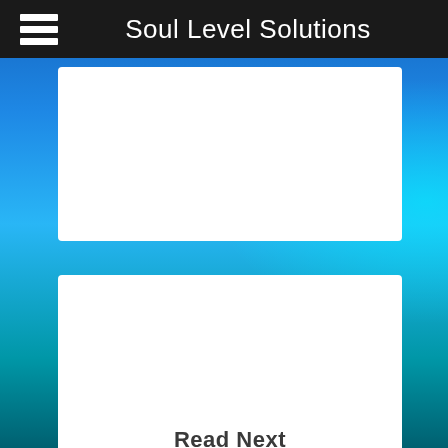Soul Level Solutions
[Figure (screenshot): White content card area 1 - blank white card on blue ocean background]
[Figure (screenshot): White content card area 2 - blank white card on blue ocean background]
Read Next